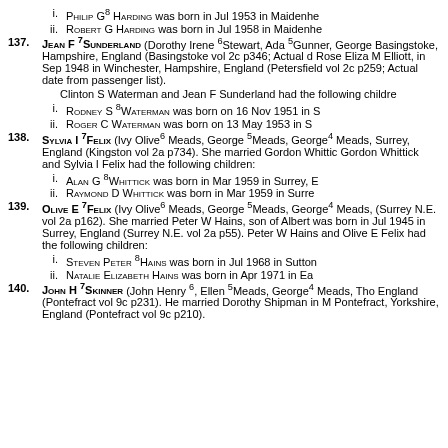i. PHILIP G8 HARDING was born in Jul 1953 in Maidenhea
ii. ROBERT G HARDING was born in Jul 1958 in Maidenhe
137. JEAN F 7SUNDERLAND (Dorothy Irene 6Stewart, Ada 5Gunner, George... Basingstoke, Hampshire, England (Basingstoke vol 2c p346; Actual d... Rose Eliza M Elliott, in Sep 1948 in Winchester, Hampshire, England... (Petersfield vol 2c p259; Actual date from passenger list). Clinton S Waterman and Jean F Sunderland had the following childre...
i. RODNEY S 8WATERMAN was born on 16 Nov 1951 in S
ii. ROGER C WATERMAN was born on 13 May 1953 in S
138. SYLVIA I 7FELIX (Ivy Olive6 Meads, George 5Meads, George4 Meads,... Surrey, England (Kingston vol 2a p734). She married Gordon Whittic... Gordon Whittick and Sylvia I Felix had the following children:
i. ALAN G 8WHITTICK was born in Mar 1959 in Surrey, E
ii. RAYMOND D WHITTICK was born in Mar 1959 in Surre
139. OLIVE E 7FELIX (Ivy Olive6 Meads, George 5Meads, George4 Meads,... (Surrey N.E. vol 2a p162). She married Peter W Hains, son of Albert... was born in Jul 1945 in Surrey, England (Surrey N.E. vol 2a p55). Peter W Hains and Olive E Felix had the following children:
i. STEVEN PETER 8HAINS was born in Jul 1968 in Sutton
ii. NATALIE ELIZABETH HAINS was born in Apr 1971 in Ea
140. JOHN H 7SKINNER (John Henry 6, Ellen 5Meads, George4 Meads, Tho... England (Pontefract vol 9c p231). He married Dorothy Shipman in M... Pontefract, Yorkshire, England (Pontefract vol 9c p210).